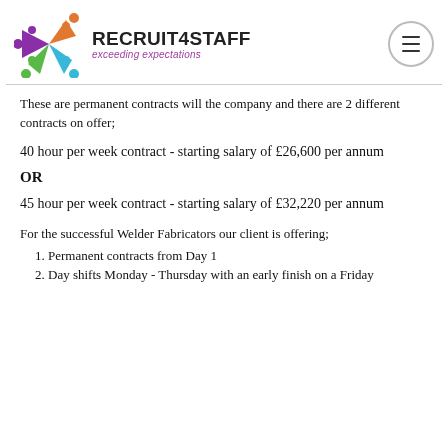[Figure (logo): Recruit4Staff logo with colourful star/person figures and text 'RECRUIT4STAFF exceeding expectations']
These are permanent contracts will the company and there are 2 different contracts on offer;
40 hour per week contract - starting salary of £26,600 per annum
OR
45 hour per week contract - starting salary of £32,220 per annum
For the successful Welder Fabricators our client is offering;
Permanent contracts from Day 1
Day shifts Monday - Thursday with an early finish on a Friday